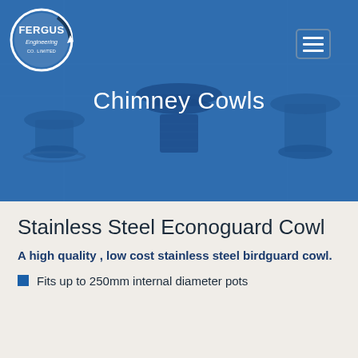[Figure (logo): Fergus Engineering Co. Limited circular logo with white circle border on dark navy background]
Chimney Cowls
Stainless Steel Econoguard Cowl
A high quality , low cost stainless steel birdguard cowl.
Fits up to 250mm internal diameter pots